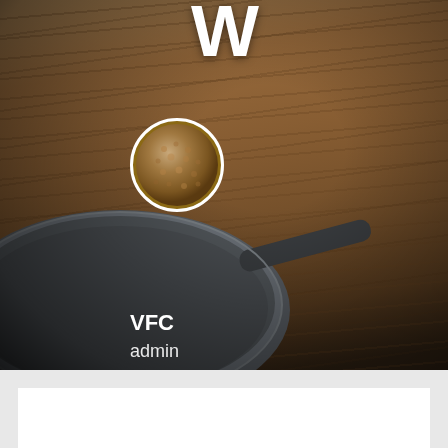[Figure (photo): Background photo of a dark cast iron or carbon steel frying pan with a long handle resting on a wooden table, viewed from above at an angle. The wood has visible grain. The scene is moody with dark vignetting.]
W
[Figure (photo): Circular avatar image showing a close-up textured surface, possibly a hammered copper or bronze cookware bottom, with a white circular border.]
VFC
admin
Published on December 21, 2018